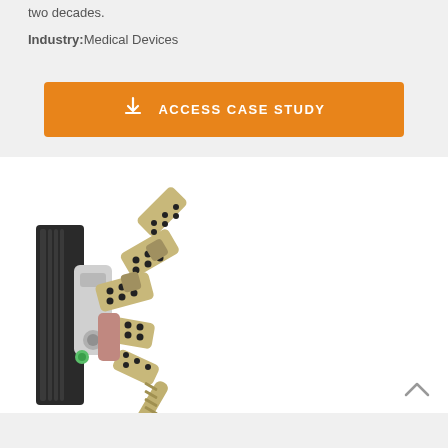two decades.
Industry: Medical Devices
[Figure (other): Orange button labeled 'ACCESS CASE STUDY' with a download icon]
[Figure (photo): A medical device — a mechanical articulating arm or robotic finger mechanism made of metal with black dots/sensors, mounted on a dark base. It has multiple jointed segments ending in a cylindrical tip.]